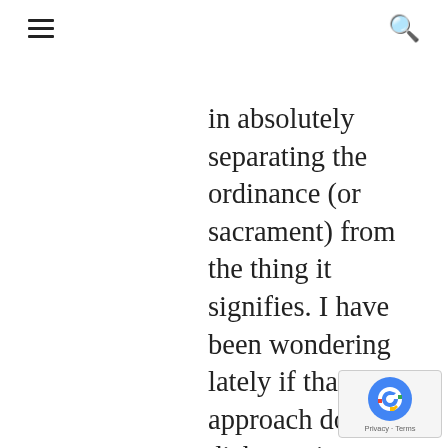≡  🔍
in absolutely separating the ordinance (or sacrament) from the thing it signifies. I have been wondering lately if that approach doesn't dichotomize a person by encouraging them to disconnect what is going on in the heart from what they do with the body. I am just thinking a little bit these days about how to best think and talk about baptism (and the Lord's Supper) in a way that